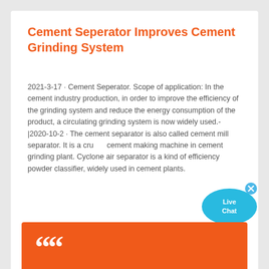Cement Seperator Improves Cement Grinding System
2021-3-17 · Cement Seperator. Scope of application: In the cement industry production, in order to improve the efficiency of the grinding system and reduce the energy consumption of the product, a circulating grinding system is now widely used.-|2020-10-2 · The cement separator is also called cement mill separator. It is a crucial cement making machine in cement grinding plant. Cyclone air separator is a kind of efficiency powder classifier, widely used in cement plants.
[Figure (illustration): Live Chat speech bubble icon with blue color and an X close button]
[Figure (illustration): Orange banner at the bottom with large white quotation marks]